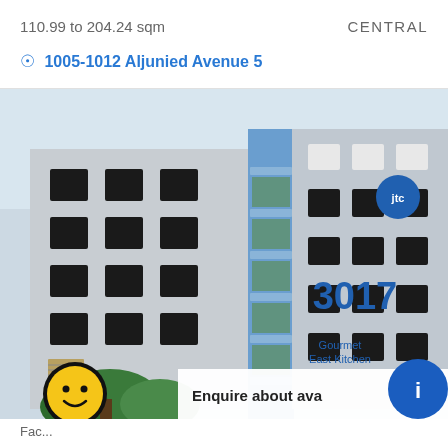110.99 to 204.24 sqm
CENTRAL
1005-1012 Aljunied Avenue 5
[Figure (photo): Exterior photo of a large multi-storey industrial/commercial building with grey facade, multiple square windows, blue accent columns, JTC logo circle on upper right, number 3017 and text 'Gourmet East Kitchen' on right wing. Trees visible at bottom.]
Enquire about ava